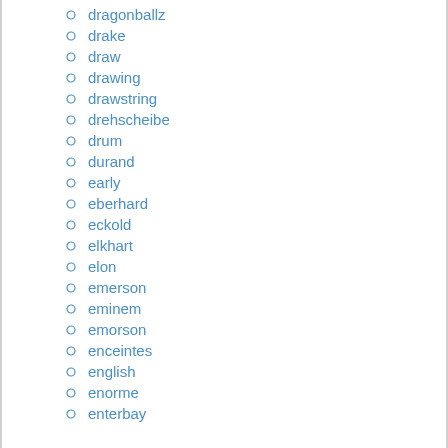dragonballz
drake
draw
drawing
drawstring
drehscheibe
drum
durand
early
eberhard
eckold
elkhart
elon
emerson
eminem
emorson
enceintes
english
enorme
enterbay